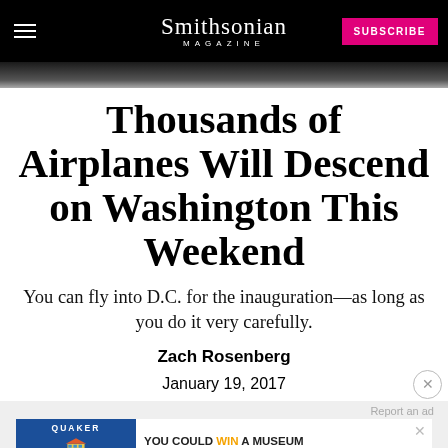Smithsonian MAGAZINE
Thousands of Airplanes Will Descend on Washington This Weekend
You can fly into D.C. for the inauguration—as long as you do it very carefully.
Zach Rosenberg
January 19, 2017
[Figure (other): Quaker advertisement banner: YOU COULD WIN A MUSEUM FIELD TRIP TO D.C. with LEARN MORE button and museum building illustration]
Report an ad